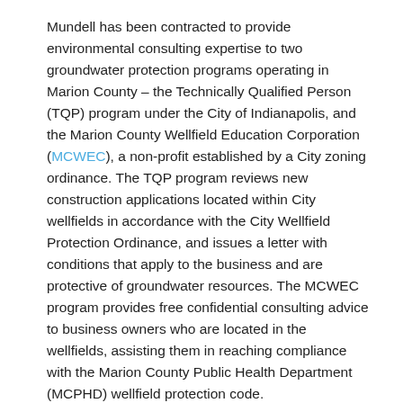Mundell has been contracted to provide environmental consulting expertise to two groundwater protection programs operating in Marion County – the Technically Qualified Person (TQP) program under the City of Indianapolis, and the Marion County Wellfield Education Corporation (MCWEC), a non-profit established by a City zoning ordinance. The TQP program reviews new construction applications located within City wellfields in accordance with the City Wellfield Protection Ordinance, and issues a letter with conditions that apply to the business and are protective of groundwater resources. The MCWEC program provides free confidential consulting advice to business owners who are located in the wellfields, assisting them in reaching compliance with the Marion County Public Health Department (MCPHD) wellfield protection code.
Action
As part of the TQP program, Mundell reviews business